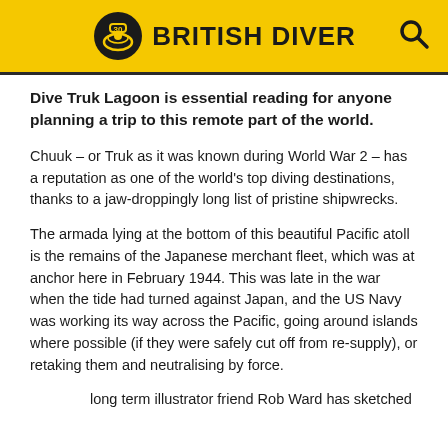BRITISH DIVER
Dive Truk Lagoon is essential reading for anyone planning a trip to this remote part of the world.
Chuuk – or Truk as it was known during World War 2 – has a reputation as one of the world's top diving destinations, thanks to a jaw-droppingly long list of pristine shipwrecks.
The armada lying at the bottom of this beautiful Pacific atoll is the remains of the Japanese merchant fleet, which was at anchor here in February 1944. This was late in the war when the tide had turned against Japan, and the US Navy was working its way across the Pacific, going around islands where possible (if they were safely cut off from re-supply), or retaking them and neutralising by force.
long term illustrator friend Rob Ward has sketched